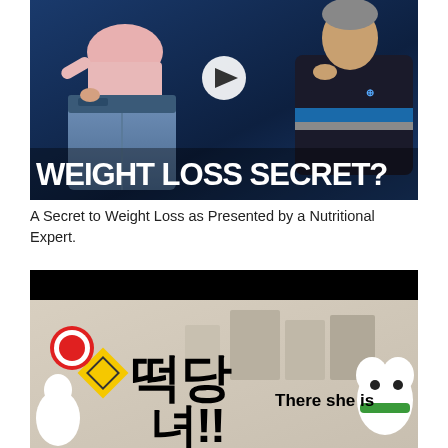[Figure (screenshot): Thumbnail image with dark blue background showing a person holding out oversized jeans and a man in black shirt thinking, with a play button overlay and text 'WEIGHT LOSS SECRET?' at the bottom]
A Secret to Weight Loss as Presented by a Nutritional Expert.
[Figure (screenshot): Animated cartoon image with Korean text and text 'There she is' overlaid, showing stylized cartoon characters in a city scene]